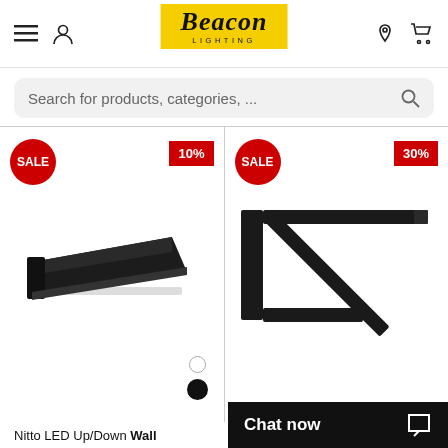[Figure (logo): Beacon Lighting logo — yellow background, script font text 'Beacon' with 'LIGHTING' subtitle]
Search for products, categories, ...
[Figure (photo): Nitto LED Up/Down wall light in black — flat angular form, viewed from side. SALE badge, 10% discount badge. Color selector dots shown.]
[Figure (photo): Wall light in black triangular bracket/arm form. SALE badge, 30% discount badge.]
Nitto LED Up/Down Wall
Chat now